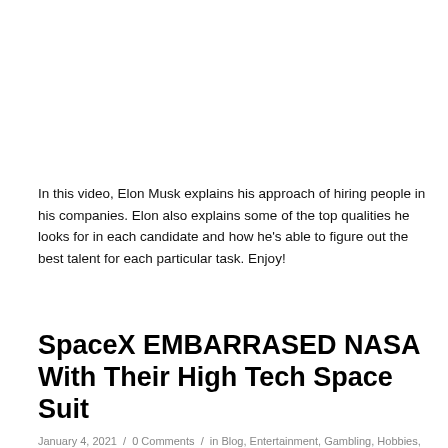In this video, Elon Musk explains his approach of hiring people in his companies. Elon also explains some of the top qualities he looks for in each candidate and how he's able to figure out the best talent for each particular task. Enjoy!
SpaceX EMBARRASED NASA With Their High Tech Space Suit
January 4, 2021 / 0 Comments / in Blog, Entertainment, Gambling, Hobbies, Lifestyle, Uncategorized / by Trick Gambling Blog